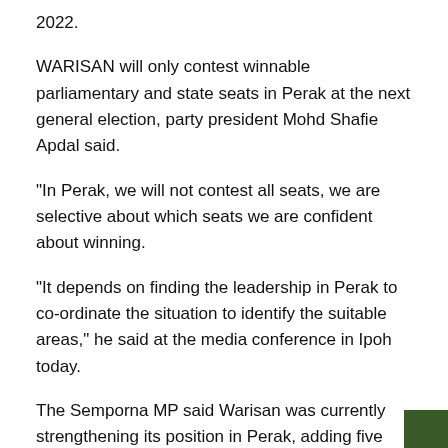2022.

WARISAN will only contest winnable parliamentary and state seats in Perak at the next general election, party president Mohd Shafie Apdal said.

"In Perak, we will not contest all seats, we are selective about which seats we are confident about winning.

"It depends on finding the leadership in Perak to co-ordinate the situation to identify the suitable areas," he said at the media conference in Ipoh today.

The Semporna MP said Warisan was currently strengthening its position in Perak, adding five divisions this year: Tambun, Ipoh Barat, Ipoh Timur, Parit and Padang Rengas.

Shafie said, besides Perak, the party was identifying seats in other states and will announce them after assessing